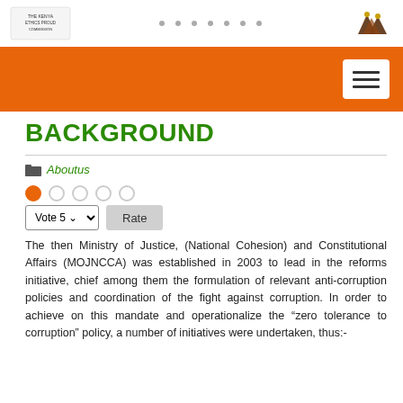The Kenya Ethics & Anti-Corruption Commission
[Figure (other): Orange navigation bar with hamburger menu button on the right]
BACKGROUND
Aboutus
Vote 5  Rate
The then Ministry of Justice, (National Cohesion) and Constitutional Affairs (MOJNCCA) was established in 2003 to lead in the reforms initiative, chief among them the formulation of relevant anti-corruption policies and coordination of the fight against corruption. In order to achieve on this mandate and operationalize the “zero tolerance to corruption” policy, a number of initiatives were undertaken, thus:-